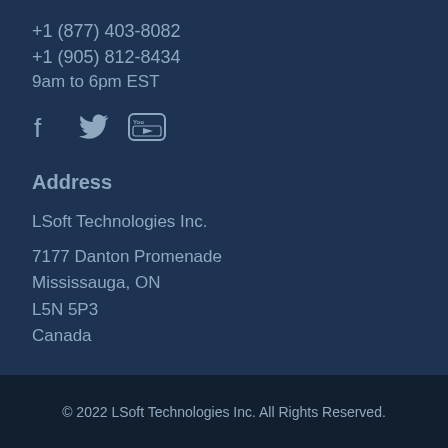+1 (877) 403-8082
+1 (905) 812-8434
9am to 6pm EST
[Figure (illustration): Social media icons: Facebook, Twitter, YouTube]
Address
LSoft Technologies Inc.
7177 Danton Promenade
Mississauga, ON
L5N 5P3
Canada
© 2022 LSoft Technologies Inc. All Rights Reserved.